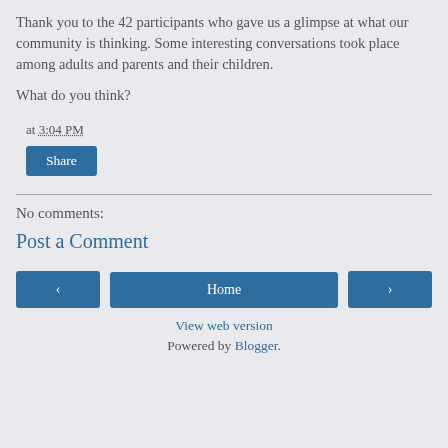Thank you to the 42 participants who gave us a glimpse at what our community is thinking. Some interesting conversations took place among adults and parents and their children.
What do you think?
at 3:04 PM
Share
No comments:
Post a Comment
‹
Home
›
View web version
Powered by Blogger.